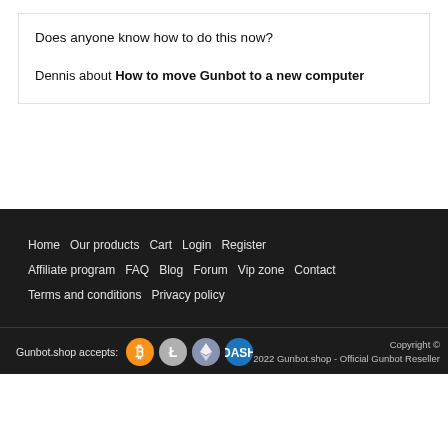Does anyone know how to do this now?
Dennis about How to move Gunbot to a new computer
Home  Our products  Cart  Login  Register  Affiliate program  FAQ  Blog  Forum  Vip zone  Contact  Terms and conditions  Privacy policy
Gunbot.shop accepts:  Copyright © 2022 Gunbot.shop - Official Gunbot Reseller